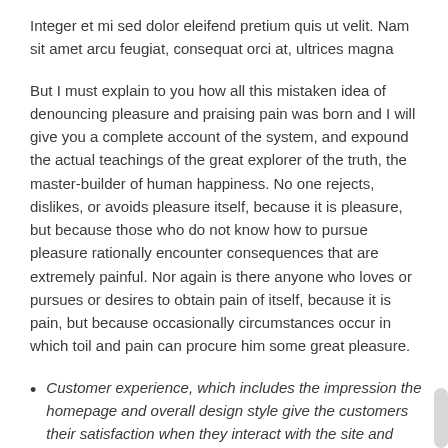Integer et mi sed dolor eleifend pretium quis ut velit. Nam sit amet arcu feugiat, consequat orci at, ultrices magna
But I must explain to you how all this mistaken idea of denouncing pleasure and praising pain was born and I will give you a complete account of the system, and expound the actual teachings of the great explorer of the truth, the master-builder of human happiness. No one rejects, dislikes, or avoids pleasure itself, because it is pleasure, but because those who do not know how to pursue pleasure rationally encounter consequences that are extremely painful. Nor again is there anyone who loves or pursues or desires to obtain pain of itself, because it is pain, but because occasionally circumstances occur in which toil and pain can procure him some great pleasure.
Customer experience, which includes the impression the homepage and overall design style give the customers their satisfaction when they interact with the site and perform tasks.